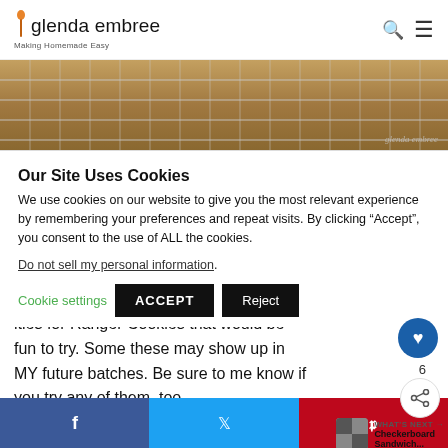glenda embree — Making Homemade Easy
[Figure (photo): Cookies on a cooling rack, brown paper background, glenda embree watermark]
Our Site Uses Cookies
We use cookies on our website to give you the most relevant experience by remembering your preferences and repeat visits. By clicking “Accept”, you consent to the use of ALL the cookies.
Do not sell my personal information.
Cookie settings   ACCEPT   Reject
ities for Ranger Cookies that would be fun to try. Some these may show up in MY future batches. Be sure to me know if you try any of them, too.
[Figure (screenshot): WHAT'S NEXT arrow — Checkerboard Sandwich... thumbnail]
Facebook share | Twitter share | Pinterest share